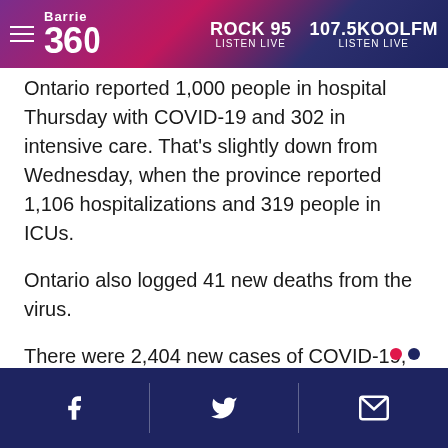Barrie 360 | ROCK 95 LISTEN LIVE | 107.5KOOLFM LISTEN LIVE
Ontario reported 1,000 people in hospital Thursday with COVID-19 and 302 in intensive care. That's slightly down from Wednesday, when the province reported 1,106 hospitalizations and 319 people in ICUs.
Ontario also logged 41 new deaths from the virus.
There were 2,404 new cases of COVID-19, but provincial policies limiting access to testing mean that number is likely higher.
This report by The Canadian Press was first published Feb. 24, 2022.
Facebook | Twitter | Email (social share icons)